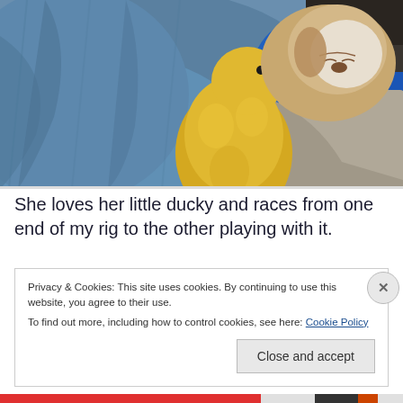[Figure (photo): A small dog sleeping wrapped in a blue fluffy blanket/robe, cuddling a yellow rubber duck plush toy with orange beak and feet. The person holding the dog is wearing a blue sleeve with a dog print pattern.]
She loves her little ducky and races from one end of my rig to the other playing with it.
Privacy & Cookies: This site uses cookies. By continuing to use this website, you agree to their use.
To find out more, including how to control cookies, see here: Cookie Policy